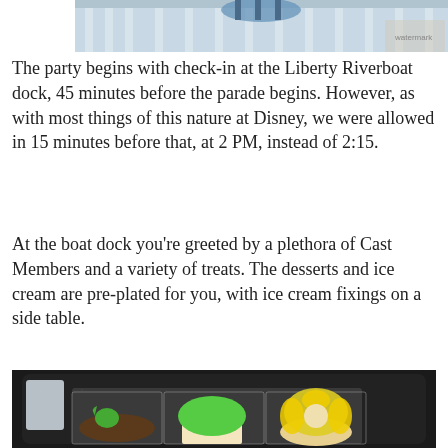[Figure (photo): Top portion of a photo showing the Liberty Riverboat dock area with blue sky and white columns visible]
The party begins with check-in at the Liberty Riverboat dock, 45 minutes before the parade begins. However, as with most things of this nature at Disney, we were allowed in 15 minutes before that, at 2 PM, instead of 2:15.
At the boat dock you're greeted by a plethora of Cast Members and a variety of treats. The desserts and ice cream are pre-plated for you, with ice cream fixings on a side table.
[Figure (photo): Photo of three Disney-themed desserts on a black tray in a clear plastic holder: a brownie with green frog decoration, a cupcake with green frosting and Tiana topper, and a yellow flower-shaped dessert]